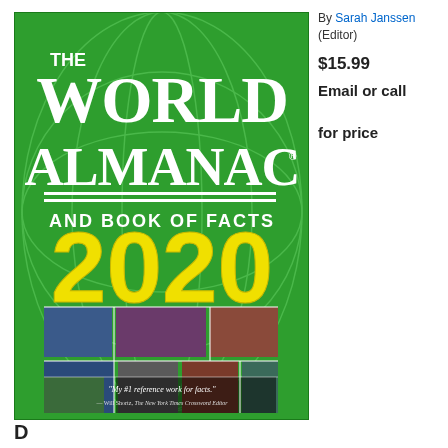[Figure (illustration): Book cover of The World Almanac and Book of Facts 2020 edited by Sarah Janssen. Green cover with large white text reading THE WORLD ALMANAC AND BOOK OF FACTS, large yellow 2020 number, globe graphic in background, collage of news photos at bottom including flag, singer, baseball player, political figure, Mars rover, Sydney Opera House, aerial view. Quote at bottom: My #1 reference work for facts. — Will Shortz, The New York Times Crossword Editor]
By Sarah Janssen (Editor)
$15.99
Email or call for price